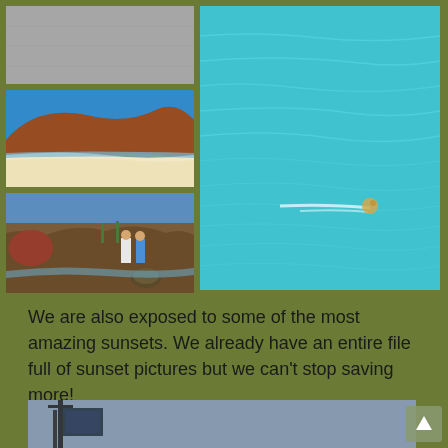[Figure (photo): Top-left small photo: gray/neutral textured surface]
[Figure (photo): Middle-left photo: red/brown desert hill with white sandy beach below, blue sky]
[Figure (photo): Bottom-left photo: two people standing on rocky desert shore near water with saguaro cacti and a turtle or rock in foreground]
[Figure (photo): Right large photo: bright turquoise water with a dog or sea creature swimming, creating a wake]
We are also exposed to some of the most amazing sunsets. We already have an entire file full of sunset pictures but we can't stop saving more!
[Figure (photo): Bottom partial photo: dark structure or boat mast against a gray-blue evening sky]